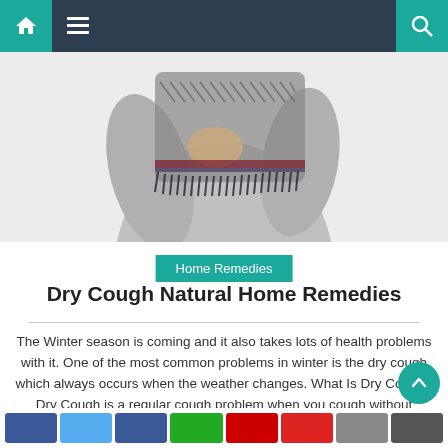Navigation bar with home, menu, and search icons
[Figure (photo): Person in a grey long-sleeve shirt wrapped in a chevron-patterned scarf with fringe, holding their chest, suggesting a cough or cold]
Home Remedies
Dry Cough Natural Home Remedies
The Winter season is coming and it also takes lots of health problems with it. One of the most common problems in winter is the dry cough which always occurs when the weather changes. What Is Dry Cough? Dry Cough is a regular cough problem when you cough without phlegm and mucus production in the [...]